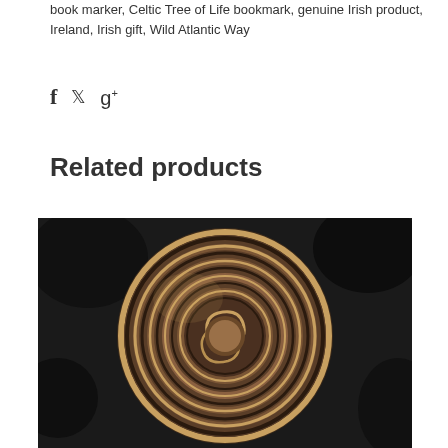book marker, Celtic Tree of Life bookmark, genuine Irish product, Ireland, Irish gift, Wild Atlantic Way
[Figure (other): Social sharing icons: Facebook f, Twitter bird, Google+ g+]
Related products
[Figure (photo): Close-up photo of a bronze/copper circular labyrinth medallion with spiral groove pattern, photographed against a dark rocky background.]